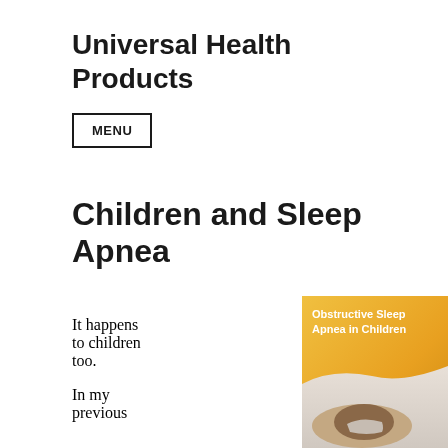Universal Health Products
MENU
Children and Sleep Apnea
It happens to children too.
In my previous
[Figure (illustration): Infographic image with orange/yellow gradient background showing text 'Obstructive Sleep Apnea in Children' with a child sleeping wearing a CPAP mask in the lower portion of the image.]